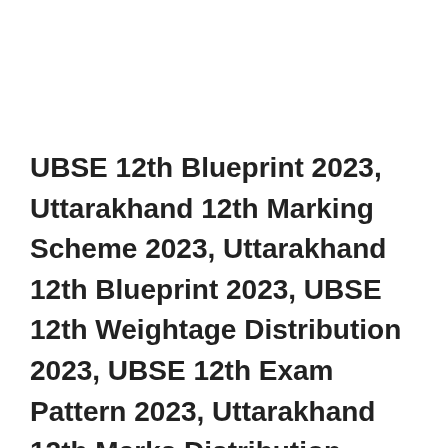UBSE 12th Blueprint 2023, Uttarakhand 12th Marking Scheme 2023, Uttarakhand 12th Blueprint 2023, UBSE 12th Weightage Distribution 2023, UBSE 12th Exam Pattern 2023, Uttarakhand 12th Marks Distribution Pattern Pdf Download